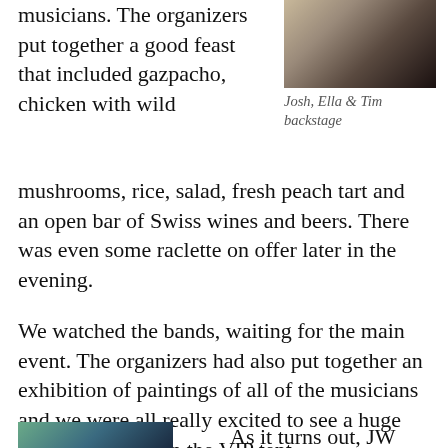musicians. The organizers put together a good feast that included gazpacho, chicken with wild
[Figure (photo): Three people (Josh, Ella & Tim) posed together backstage]
Josh, Ella & Tim backstage
mushrooms, rice, salad, fresh peach tart and an open bar of Swiss wines and beers. There was even some raclette on offer later in the evening.
We watched the bands, waiting for the main event. The organizers had also put together an exhibition of paintings of all of the musicians and we were all really excited to see a huge painting of Josh in the VIP tent.
[Figure (photo): Partial photo visible at bottom left of page]
As it turns out, JW